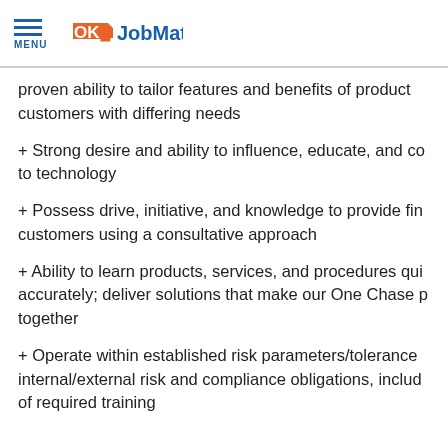MENU | OK JobMatch
proven ability to tailor features and benefits of products to customers with differing needs
+ Strong desire and ability to influence, educate, and connect customers to technology
+ Possess drive, initiative, and knowledge to provide financial solutions to customers using a consultative approach
+ Ability to learn products, services, and procedures quickly and accurately; deliver solutions that make our One Chase promise come together
+ Operate within established risk parameters/tolerances, and meets internal/external risk and compliance obligations, including completion of required training